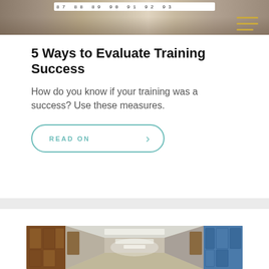[Figure (photo): Close-up photo of a measuring tape showing numbers 90, 91, 92 on a gray/brown background]
5 Ways to Evaluate Training Success
How do you know if your training was a success? Use these measures.
READ ON
[Figure (photo): Photo of a school hallway with lockers on both sides and ceiling lights receding into the distance]